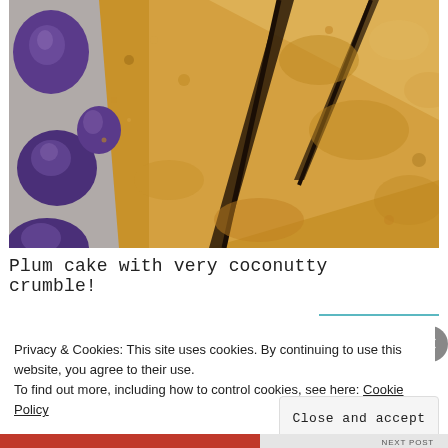[Figure (photo): Close-up photo of a plum cake with golden crumble topping, cut into triangular slices, with whole purple plums visible on the left side on a grey surface.]
Plum cake with very coconutty crumble!
Privacy & Cookies: This site uses cookies. By continuing to use this website, you agree to their use.
To find out more, including how to control cookies, see here: Cookie Policy
Close and accept